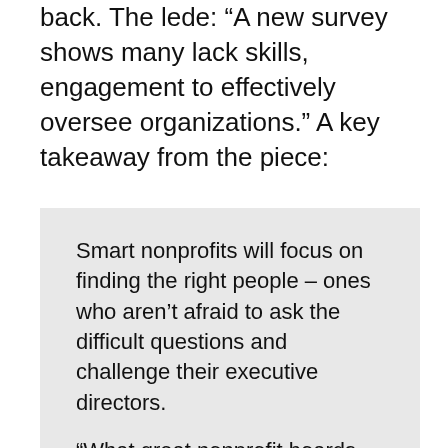back. The lede: “A new survey shows many lack skills, engagement to effectively oversee organizations.” A key takeaway from the piece:
Smart nonprofits will focus on finding the right people – ones who aren’t afraid to ask the difficult questions and challenge their executive directors.

“What great nonprofit boards have is a handful of serious, committed board members who ask the right questions, spend the time, raise the money, and are intellectually engaged,” says Meehan. “You only need a handful, and